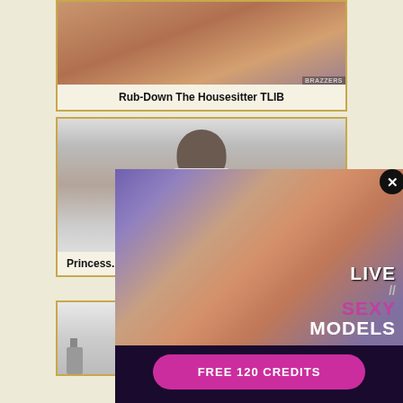[Figure (screenshot): Video thumbnail showing skin-toned background, adult content blurred]
Rub-Down The Housesitter TLIB
[Figure (screenshot): Video thumbnail with woman in white top standing near fireplace]
Princess...
[Figure (screenshot): Popup advertisement: LIVE SEXY MODELS with FREE 120 CREDITS button]
[Figure (screenshot): Third video thumbnail, partial view]